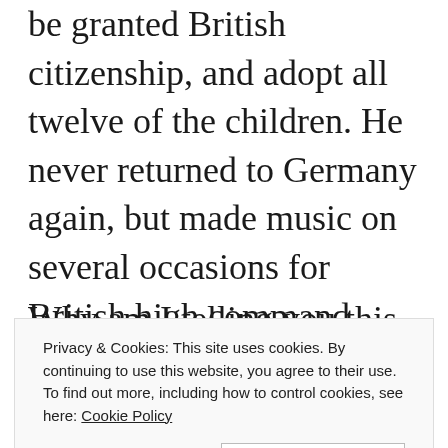be granted British citizenship, and adopt all twelve of the children. He never returned to Germany again, but made music on several occasions for British high command.
Why am I telling you this, you might
Privacy & Cookies: This site uses cookies. By continuing to use this website, you agree to their use.
To find out more, including how to control cookies, see here: Cookie Policy
Close and accept